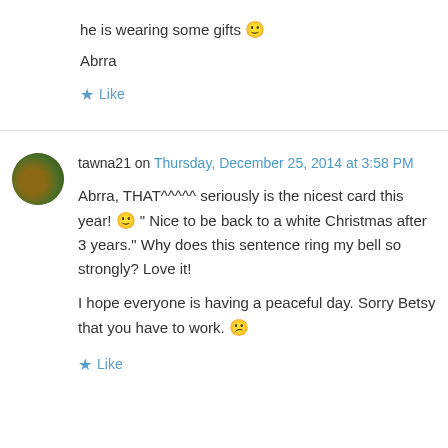he is wearing some gifts 🙂
Abrra
★ Like
tawna21 on Thursday, December 25, 2014 at 3:58 PM
Abrra, THAT^^^^^ seriously is the nicest card this year! 🙂 " Nice to be back to a white Christmas after 3 years." Why does this sentence ring my bell so strongly? Love it!
I hope everyone is having a peaceful day. Sorry Betsy that you have to work. 😕
★ Like